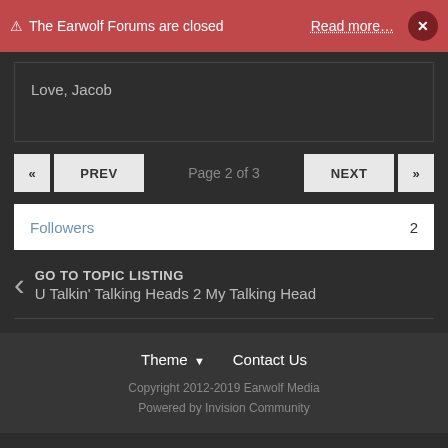⚠ The Earwolf Forums are closed   Read more…   ×
Love, Jacob
« PREV   Page 2 of 3   NEXT »
Followers   2
GO TO TOPIC LISTING
U Talkin' Talking Heads 2 My Talking Head
Theme ▼   Contact Us
Copyright 2012-2019 Earwolf Media
Powered by Invision Community